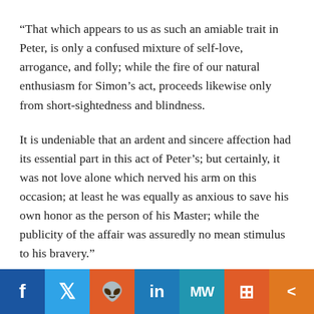“That which appears to us as such an amiable trait in Peter, is only a confused mixture of self-love, arrogance, and folly; while the fire of our natural enthusiasm for Simon’s act, proceeds likewise only from short-sightedness and blindness.
It is undeniable that an ardent and sincere affection had its essential part in this act of Peter’s; but certainly, it was not love alone which nerved his arm on this occasion; at least he was equally as anxious to save his own honor as the person of his Master; while the publicity of the affair was assuredly no mean stimulus to his bravery.”
Read More
[Figure (infographic): Social media sharing bar with icons for Facebook (blue), Twitter (light blue), Reddit (orange), LinkedIn (blue), MeWe (teal), Mix (orange), and Share (orange)]